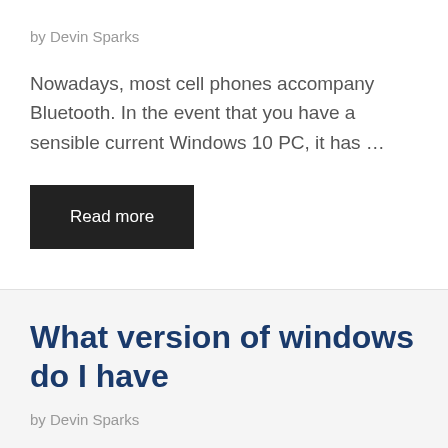by Devin Sparks
Nowadays, most cell phones accompany Bluetooth. In the event that you have a sensible current Windows 10 PC, it has …
Read more
What version of windows do I have
by Devin Sparks